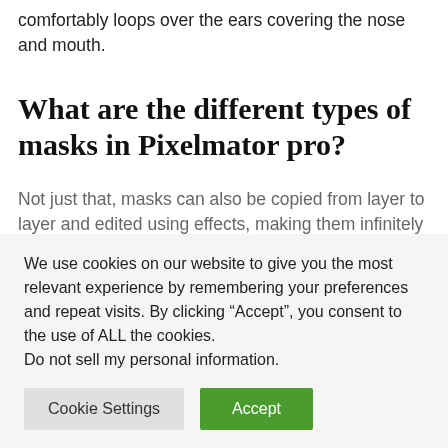comfortably loops over the ears covering the nose and mouth.
What are the different types of masks in Pixelmator pro?
Not just that, masks can also be copied from layer to layer and edited using effects, making them infinitely more versatile for many image editing
We use cookies on our website to give you the most relevant experience by remembering your preferences and repeat visits. By clicking “Accept”, you consent to the use of ALL the cookies. Do not sell my personal information.
Cookie Settings | Accept